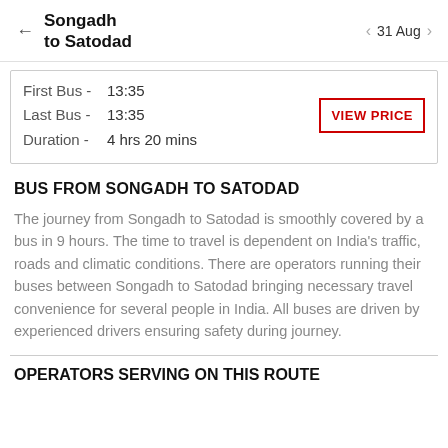← Songadh to Satodad   < 31 Aug >
| First Bus - | 13:35 |
| Last Bus - | 13:35 |
| Duration - | 4 hrs 20 mins |
BUS FROM SONGADH TO SATODAD
The journey from Songadh to Satodad is smoothly covered by a bus in 9 hours. The time to travel is dependent on India's traffic, roads and climatic conditions. There are operators running their buses between Songadh to Satodad bringing necessary travel convenience for several people in India. All buses are driven by experienced drivers ensuring safety during journey.
OPERATORS SERVING ON THIS ROUTE